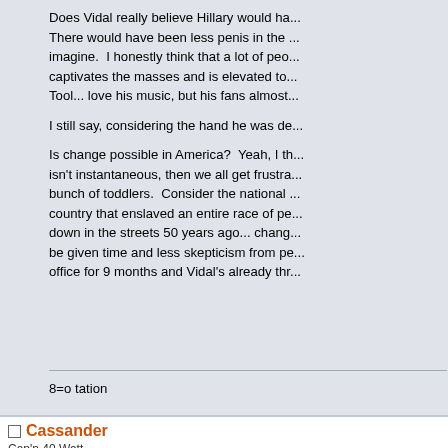Does Vidal really believe Hillary would ha... There would have been less penis in the ... imagine. I honestly think that a lot of peo... captivates the masses and is elevated to... Tool... love his music, but his fans almost...

I still say, considering the hand he was de...

Is change possible in America? Yeah, I th... isn't instantaneous, then we all get frustra... bunch of toddlers. Consider the national... country that enslaved an entire race of pe... down in the streets 50 years ago... chang... be given time and less skepticism from pe... office for 9 months and Vidal's already thr...
8=o tation
Cassander
Cap'n 40 Watt
Old Timer
Wee Bin Hoker
Re: The Fall of Obama
« Reply #3 on: October 02, 2009, 03:23:5...
»
Gore Vidal is on the same point in the co...